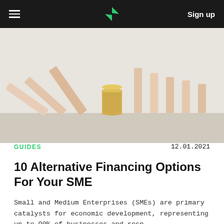≡  [logo]  Sign up
[Figure (photo): Stack of coins surrounded by falling wooden domino blocks on a light grey background]
GUIDES
12.01.2021
10 Alternative Financing Options For Your SME
Small and Medium Enterprises (SMEs) are primary catalysts for economic development, representing up to 90% of businesses and resp...